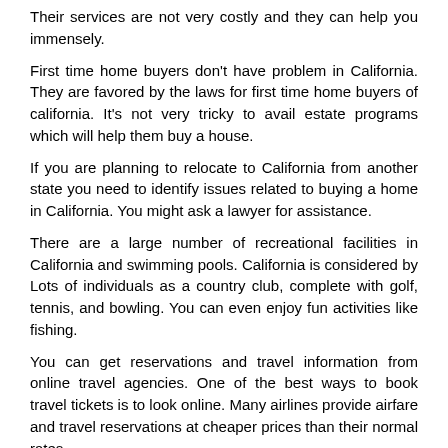Their services are not very costly and they can help you immensely.
First time home buyers don't have problem in California. They are favored by the laws for first time home buyers of california. It's not very tricky to avail estate programs which will help them buy a house.
If you are planning to relocate to California from another state you need to identify issues related to buying a home in California. You might ask a lawyer for assistance.
There are a large number of recreational facilities in California and swimming pools. California is considered by Lots of individuals as a country club, complete with golf, tennis, and bowling. You can even enjoy fun activities like fishing.
You can get reservations and travel information from online travel agencies. One of the best ways to book travel tickets is to look online. Many airlines provide airfare and travel reservations at cheaper prices than their normal rates.
California is regarded as the state of the United States. So if you are planning to relocate there permanently, ensure you learn more about it!